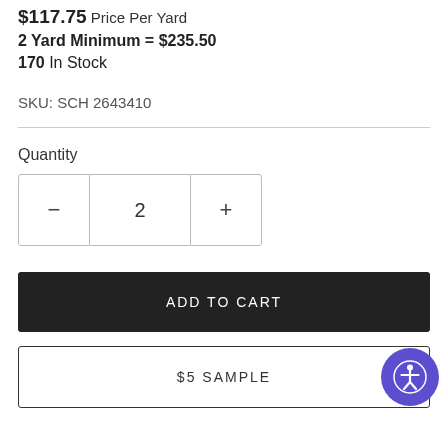$117.75 Price Per Yard
2 Yard Minimum = $235.50
170 In Stock
SKU: SCH 2643410
Quantity
− 2 +
ADD TO CART
$5 SAMPLE